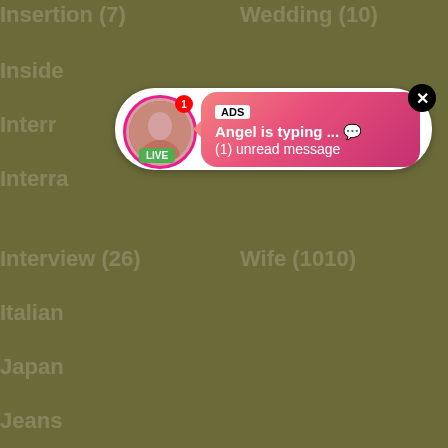Insertion (7)
Wedding (10)
Inside
Interr
Interra
Interview (26)
Wife (1010)
Italian
Japan
Jeans
[Figure (screenshot): Chat notification popup with avatar showing LIVE badge, ADS label, 'Angel is typing ... 💬' message, '(1) unread message' text, pink-red gradient background, close button]
[Figure (screenshot): Audio player notification showing missed call from Eliza with green phone icon, '(1)Missed Call from Eliza', 'pleeease call me back.. I miss you!', audio player with progress bar at 0:00 / 3:23, playback controls with rewind, play, fast-forward buttons]